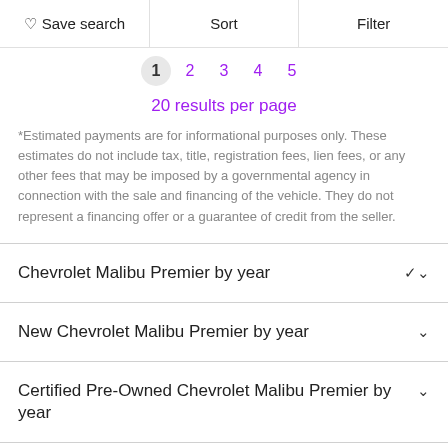Save search   Sort   Filter
1  2  3  4  5
20 results per page
*Estimated payments are for informational purposes only. These estimates do not include tax, title, registration fees, lien fees, or any other fees that may be imposed by a governmental agency in connection with the sale and financing of the vehicle. They do not represent a financing offer or a guarantee of credit from the seller.
Chevrolet Malibu Premier by year
New Chevrolet Malibu Premier by year
Certified Pre-Owned Chevrolet Malibu Premier by year